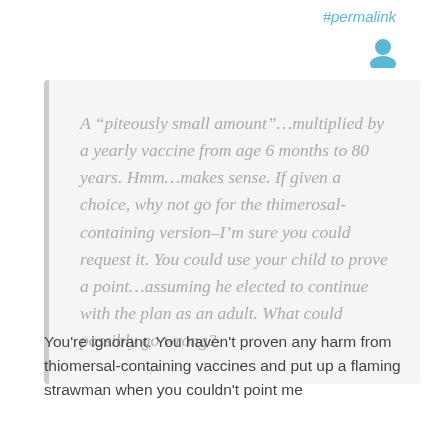#permalink
[Figure (illustration): User avatar icon in blue/teal color]
A “piteously small amount”…multiplied by a yearly vaccine from age 6 months to 80 years. Hmm…makes sense. If given a choice, why not go for the thimerosal-containing version–I’m sure you could request it. You could use your child to prove a point…assuming he elected to continue with the plan as an adult. What could possibly go wrong?
You're ignorant. You haven't proven any harm from thiomersal-containing vaccines and put up a flaming strawman when you couldn't point me